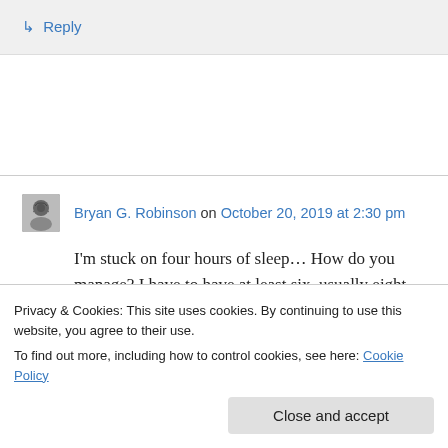↳ Reply
Bryan G. Robinson on October 20, 2019 at 2:30 pm
I'm stuck on four hours of sleep... How do you manage? I have to have at least six, usually eight.
Privacy & Cookies: This site uses cookies. By continuing to use this website, you agree to their use. To find out more, including how to control cookies, see here: Cookie Policy
Close and accept